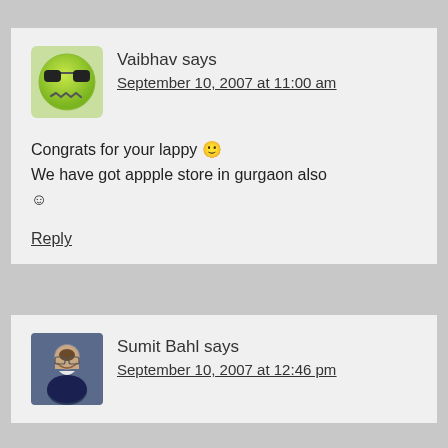Vaibhav says
September 10, 2007 at 11:00 am
Congrats for your lappy 🙂
We have got appple store in gurgaon also
☺
Reply
Sumit Bahl says
September 10, 2007 at 12:46 pm